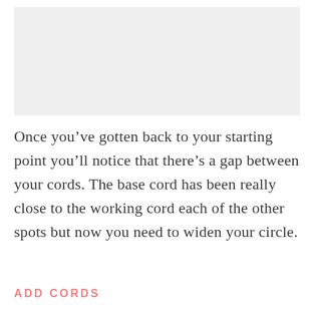[Figure (photo): Light gray placeholder image area at top of page]
Once you've gotten back to your starting point you'll notice that there's a gap between your cords. The base cord has been really close to the working cord each of the other spots but now you need to widen your circle.
ADD CORDS